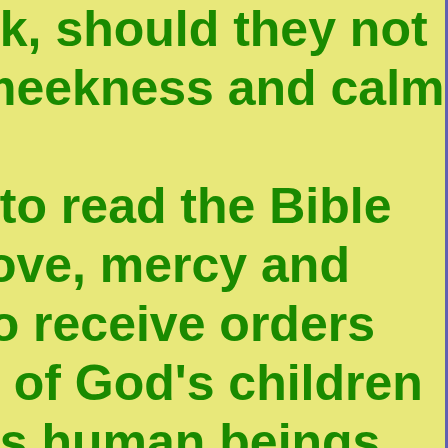ek, should they not meekness and calm to read the Bible love, mercy and to receive orders y of God's children as human beings, to speak with them myself, because has cast up many (Proverbs 22:7)